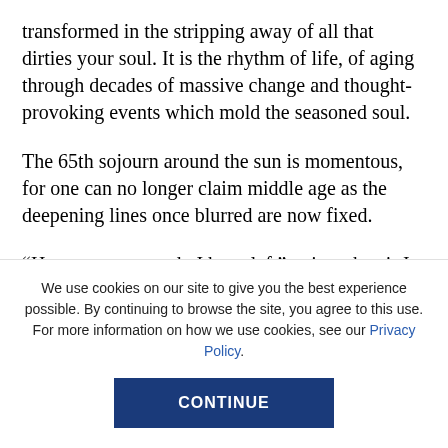transformed in the stripping away of all that dirties your soul. It is the rhythm of life, of aging through decades of massive change and thought-provoking events which mold the seasoned soul.
The 65th sojourn around the sun is momentous, for one can no longer claim middle age as the deepening lines once blurred are now fixed.
“How many years do I have left” voices the air I breathe?
We use cookies on our site to give you the best experience possible. By continuing to browse the site, you agree to this use. For more information on how we use cookies, see our Privacy Policy.
CONTINUE